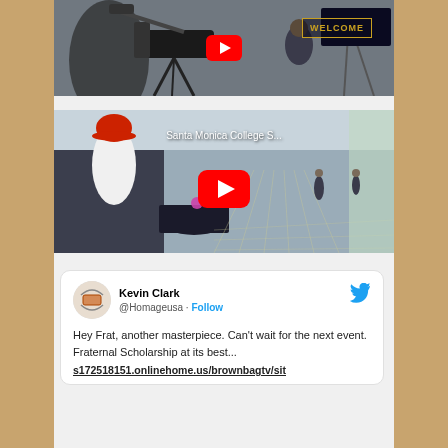[Figure (screenshot): YouTube video thumbnail showing a TV camera crew and a welcome sign at an event, with a red YouTube play button overlay]
[Figure (screenshot): YouTube video thumbnail with title 'Santa Monica College S...' showing an event hall with tables and draped tablecloths, with a red YouTube play button overlay]
Kevin Clark @Homageusa · Follow
Hey Frat, another masterpiece.  Can't wait  for the next event.  Fraternal Scholarship at its best...
s172518151.onlinehome.us/brownbagtv/sit